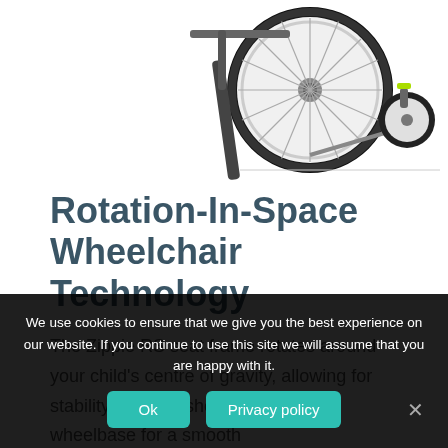[Figure (photo): Partial view of a Zippie RS wheelchair from behind, showing the large rear wheel with spokes and a smaller front caster wheel. The background is white.]
Rotation-In-Space Wheelchair Technology
The Zippie RS seat frame rotates around your child's centre of gravity, allowing for stability over the shortest possible wheelbase for a smooth
We use cookies to ensure that we give you the best experience on our website. If you continue to use this site we will assume that you are happy with it.